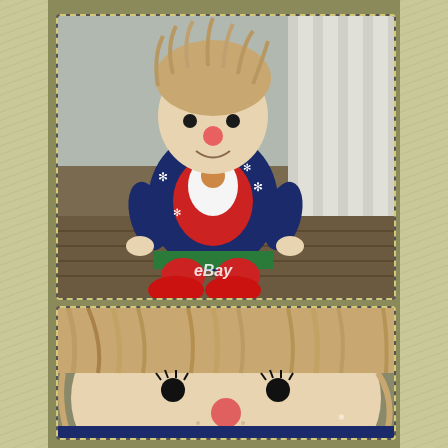[Figure (photo): A soft yarn-hair doll with a round face, red nose, wearing a navy blue Christmas sweater with Santa Claus design and snowflakes, red pants/legs and red shoes, sitting on a wooden deck. eBay watermark visible at bottom center.]
[Figure (photo): Close-up of the same doll's face showing tan/beige yarn hair, black bead eyes with eyelashes, a round pink/red nose, freckles, and the top of a navy blue Christmas sweater. The doll's face is detailed and somewhat eerie.]